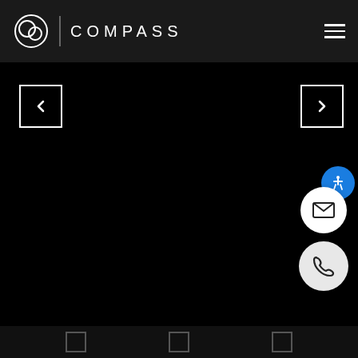[Figure (logo): Compass real estate website screenshot with dark header showing a logo with overlapping circles, a vertical divider, the word COMPASS in spaced white letters, and a hamburger menu icon on the right. Below is a black image slider area with left and right navigation arrow buttons in white square outlines. On the right side are a blue accessibility icon, a white circular email button, and a white circular phone button. At the bottom is a dark bar with three small thumbnail box outlines.]